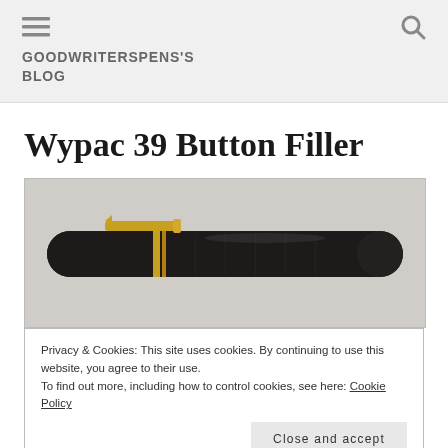GOODWRITERSPENS'S BLOG
Wypac 39 Button Filler
[Figure (photo): A dark/black vintage Wypac 39 Button Filler fountain pen with gold-tone clip and accents, photographed on a light grey background.]
Privacy & Cookies: This site uses cookies. By continuing to use this website, you agree to their use.
To find out more, including how to control cookies, see here: Cookie Policy
Close and accept
executed pen. The surprising thing is that it didn't catch on